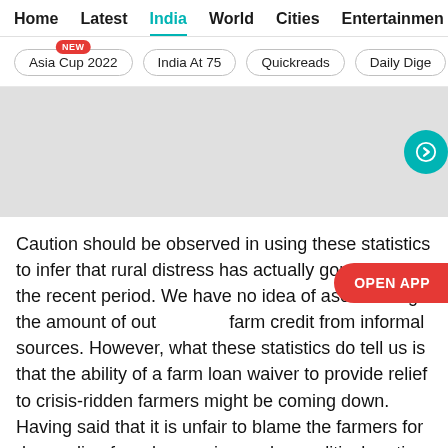Home  Latest  India  World  Cities  Entertainment
Asia Cup 2022 NEW
India At 75
Quickreads
Daily Dige
[Figure (other): Gray advertisement/image placeholder area with a teal circular arrow button on the right side]
Caution should be observed in using these statistics to infer that rural distress has actually gone down in the recent period. We have no idea of ascertaining the amount of outstanding farm credit from informal sources. However, what these statistics do tell us is that the ability of a farm loan waiver to provide relief to crisis-ridden farmers might be coming down. Having said that it is unfair to blame the farmers for demanding farm-loan waivers when political parties themselves make such promises on the eve of elections.